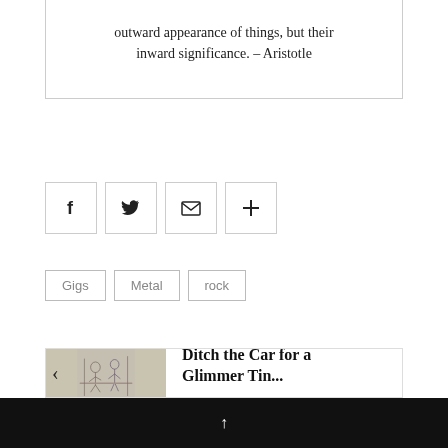outward appearance of things, but their inward significance. – Aristotle
[Figure (infographic): Row of four social sharing icon buttons: Facebook (f), Twitter (bird), Email (envelope), and Plus (+)]
Gigs   Metal   rock
[Figure (photo): A sketch-like illustration of figures seated, with a left-facing arrow navigation control overlaid]
Previous Story:
Ditch the Car for a Glimmer Tin...
↑